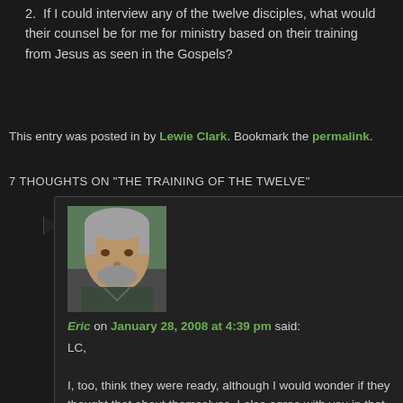2. If I could interview any of the twelve disciples, what would their counsel be for me for ministry based on their training from Jesus as seen in the Gospels?
This entry was posted in by Lewie Clark. Bookmark the permalink.
7 THOUGHTS ON "THE TRAINING OF THE TWELVE"
[Figure (photo): Profile photo of Eric, a middle-aged man with gray hair and beard, outdoors]
Eric on January 28, 2008 at 4:39 pm said:
LC,
I, too, think they were ready, although I would wonder if they thought that about themselves. I also agree with you in that we need to study the model Jesus gave us with the twelve. As one who is sending out others to make disciples I have